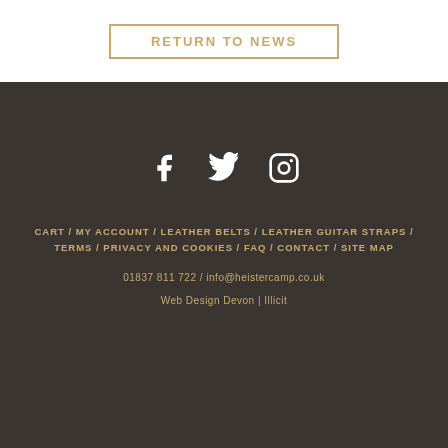RETURN TO NEWS
[Figure (illustration): Social media icons: Facebook, Twitter, Instagram in white on dark background]
CART / MY ACCOUNT / LEATHER BELTS / LEATHER GUITAR STRAPS / TERMS / PRIVACY AND COOKIES / FAQ / CONTACT / SITE MAP
01837 811 722 / info@heistercamp.co.uk
Web Design Devon | Illicit